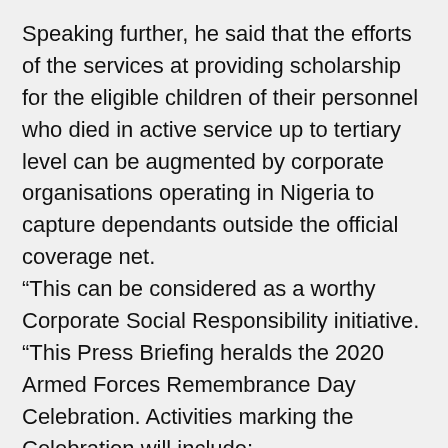Speaking further, he said that the efforts of the services at providing scholarship for the eligible children of their personnel who died in active service up to tertiary level can be augmented by corporate organisations operating in Nigeria to capture dependants outside the official coverage net.
“This can be considered as a worthy Corporate Social Responsibility initiative.
“This Press Briefing heralds the 2020 Armed Forces Remembrance Day Celebration. Activities marking the Celebration will include:
a. Emblem Launch by Mr President. The President, Commander-in-Chief of the Armed Forces, Muhammadu Buhari, will Launch the 2020 Armed Forces Remembrance Day Emblem on Wednesday 16 October 2019. The event will take place at the Council Chambers, State House, Aso Rock Villa, Abuja.b. The Nigerian Legion Humanitarian Day